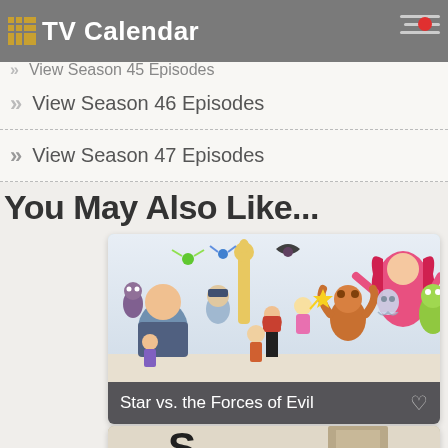TV Calendar
View Season 46 Episodes
View Season 47 Episodes
You May Also Like...
[Figure (illustration): Promotional illustration for Star vs. the Forces of Evil showing many animated cartoon characters grouped together in a colorful ensemble image]
Star vs. the Forces of Evil
[Figure (photo): Partially visible thumbnail of another show recommendation card, cropped at bottom of page]